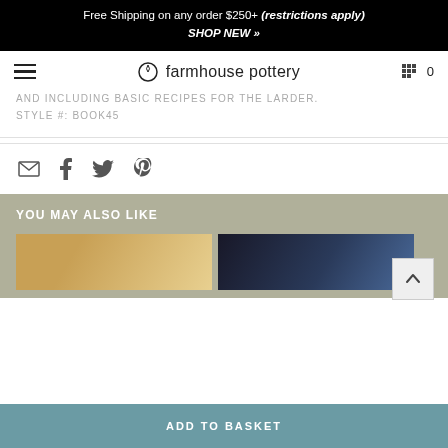Free Shipping on any order $250+ (restrictions apply) SHOP NEW »
[Figure (logo): Farmhouse Pottery logo with hamburger menu and cart icon]
AND INCLUDING BASIC RECIPES FOR THE LARDER.
STYLE #: BOOK45
[Figure (infographic): Social sharing icons: email, facebook, twitter, pinterest]
YOU MAY ALSO LIKE
[Figure (photo): Two product thumbnail images partially visible]
ADD TO BASKET